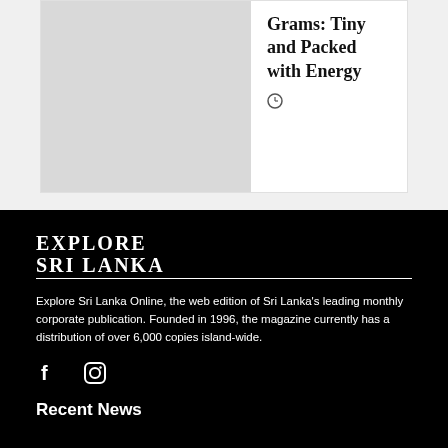Grams: Tiny and Packed with Energy
[Figure (other): Clock/time icon]
[Figure (logo): Explore Sri Lanka logo with text EXPLORE SRI LANKA]
Explore Sri Lanka Online, the web edition of Sri Lanka's leading monthly corporate publication. Founded in 1996, the magazine currently has a distribution of over 6,000 copies island-wide.
[Figure (other): Facebook and Instagram social media icons]
Recent News